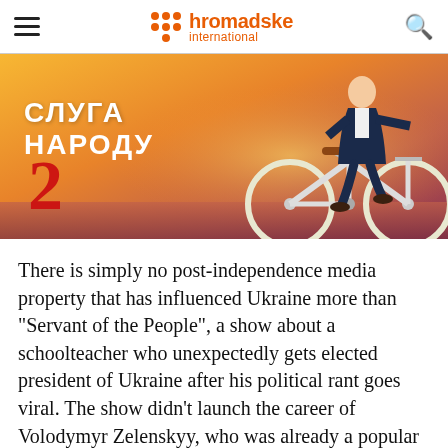hromadske international
[Figure (photo): Promotional image for Ukrainian TV show 'Слуга Народу 2' (Servant of the People 2), showing a man in a suit riding a white bicycle against an orange/yellow sky background. Cyrillic text reads СЛУГА НАРОДУ 2.]
There is simply no post-independence media property that has influenced Ukraine more than "Servant of the People", a show about a schoolteacher who unexpectedly gets elected president of Ukraine after his political rant goes viral. The show didn't launch the career of Volodymyr Zelenskyy, who was already a popular celebrity, but it is difficult to imagine him becoming the real President Zelenskyy